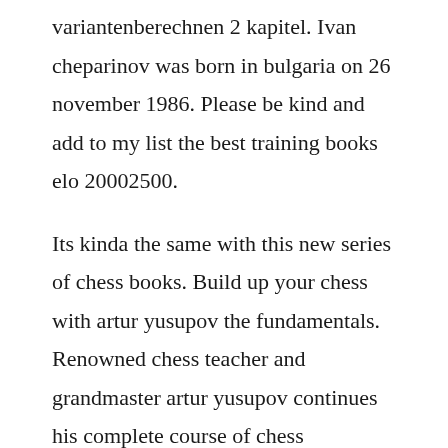variantenberechnen 2 kapitel. Ivan cheparinov was born in bulgaria on 26 november 1986. Please be kind and add to my list the best training books elo 20002500.
Its kinda the same with this new series of chess books. Build up your chess with artur yusupov the fundamentals. Renowned chess teacher and grandmaster artur yusupov continues his complete course of chess improvement. Such queen sacrifices are relatively rare, because it takes extremely well. Preface it was a pleasure to have artur yusupov his course and the